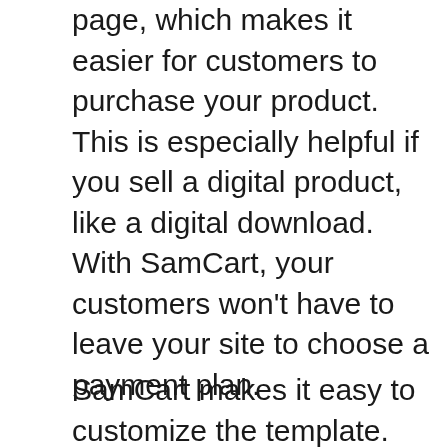page, which makes it easier for customers to purchase your product. This is especially helpful if you sell a digital product, like a digital download. With SamCart, your customers won't have to leave your site to choose a payment plan.
SamCart makes it easy to customize the template. SamCart's toolbar points you to everything you need to edit your store. Simply input the basic information for your products and upload any digital products you'd like to sell. You can customize your checkout pages with custom sections and testimonials. Customers can pay using a variety of payment methods, including PayPal, Apple Pay, or Google Pay. You can also set up payment installments and accept